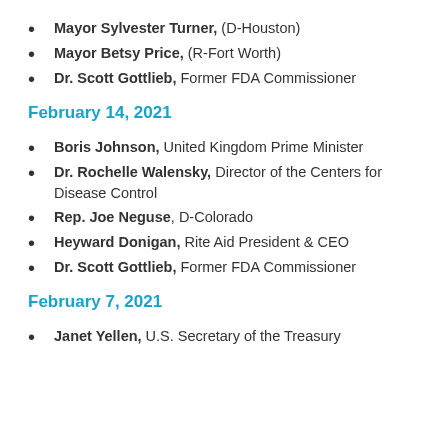Mayor Sylvester Turner, (D-Houston)
Mayor Betsy Price, (R-Fort Worth)
Dr. Scott Gottlieb, Former FDA Commissioner
February 14, 2021
Boris Johnson, United Kingdom Prime Minister
Dr. Rochelle Walensky, Director of the Centers for Disease Control
Rep. Joe Neguse, D-Colorado
Heyward Donigan, Rite Aid President & CEO
Dr. Scott Gottlieb, Former FDA Commissioner
February 7, 2021
Janet Yellen, U.S. Secretary of the Treasury